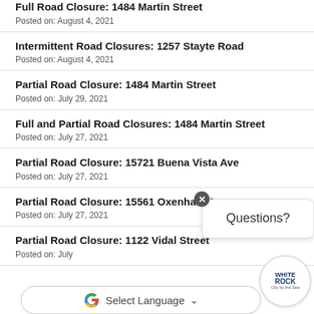Full Road Closure: 1484 Martin Street
Posted on: August 4, 2021
Intermittent Road Closures: 1257 Stayte Road
Posted on: August 4, 2021
Partial Road Closure: 1484 Martin Street
Posted on: July 29, 2021
Full and Partial Road Closures: 1484 Martin Street
Posted on: July 27, 2021
Partial Road Closure: 15721 Buena Vista Ave
Posted on: July 27, 2021
Partial Road Closure: 15561 Oxenham Ave
Posted on: July 27, 2021
Partial Road Closure: 1122 Vidal Street
Posted on: July
[Figure (screenshot): Questions? chat bubble overlay with close button and White Rock city logo circle in bottom right]
[Figure (screenshot): Google Translate Select Language dropdown bar at bottom of page]